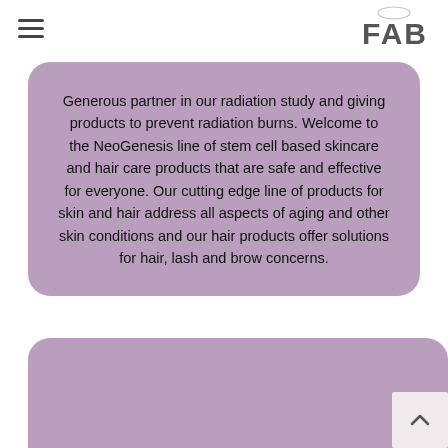≡  FAB
Generous partner in our radiation study and giving products to prevent radiation burns. Welcome to the NeoGenesis line of stem cell based skincare and hair care products that are safe and effective for everyone.  Our cutting edge line of products for skin and hair address all aspects of aging and other skin conditions and our hair products offer solutions for hair, lash and brow concerns.
[Figure (other): Partial purple rounded card at bottom of page, partially visible, with a scroll-to-top button in lower right corner]